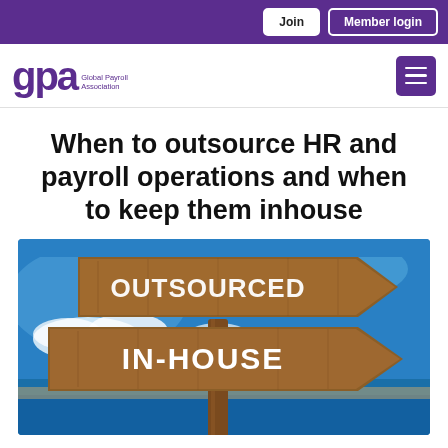Join | Member login
[Figure (logo): GPA Global Payroll Association logo with purple text]
When to outsource HR and payroll operations and when to keep them inhouse
[Figure (photo): Wooden directional signs against a blue sky and sea background. Top sign reads OUTSOURCED (partially visible), lower sign reads IN-HOUSE.]